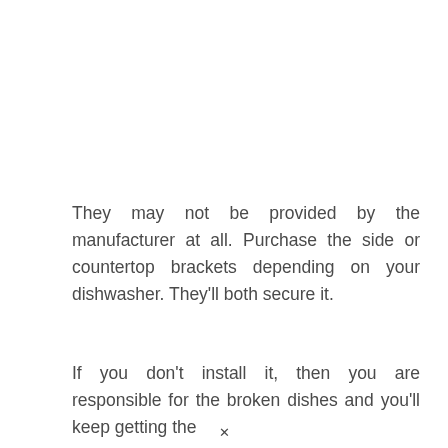They may not be provided by the manufacturer at all. Purchase the side or countertop brackets depending on your dishwasher. They'll both secure it.
If you don't install it, then you are responsible for the broken dishes and you'll keep getting the